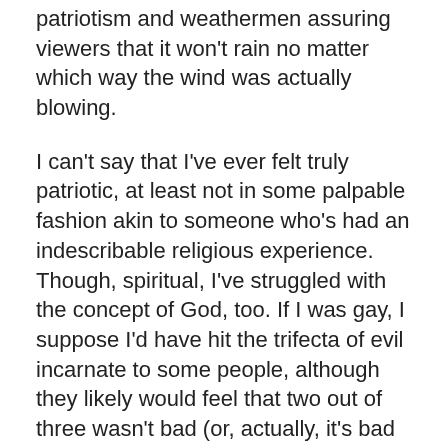patriotism and weathermen assuring viewers that it won't rain no matter which way the wind was actually blowing.
I can't say that I've ever felt truly patriotic, at least not in some palpable fashion akin to someone who's had an indescribable religious experience. Though, spiritual, I've struggled with the concept of God, too. If I was gay, I suppose I'd have hit the trifecta of evil incarnate to some people, although they likely would feel that two out of three wasn't bad (or, actually, it's bad enough).
A friend once accused me of hating America (and I'm deliberately using America here in reference to the United States). I calmly explained that I think there is a difference between the concept of America and the entity, a distinction that some “patriots” seem to have difficulty in making. The concept is brilliant. Truly. The execution, of late, has become a bit muddled and held hostage by